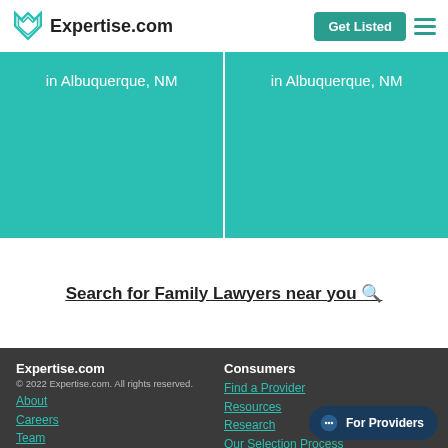Expertise.com  Get Listed
[Figure (screenshot): Two teal cards both showing 'in Albuquerque, NM']
Search for Family Lawyers near you 🔍
Expertise.com
© 2022 Expertise.com. All rights reserved.
About
Careers
Team
Terms of Use
Privacy Policy

Consumers
Find a Provider
Resources
Research
Our Selection Process
Nominate
For Providers